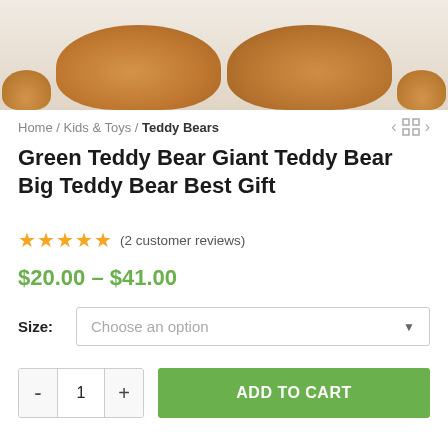[Figure (photo): Close-up photo of the bottom/feet of two large brown/orange teddy bears sitting on a white wooden floor surface. Only the lower body portions are visible.]
Home / Kids & Toys / Teddy Bears
Green Teddy Bear Giant Teddy Bear Big Teddy Bear Best Gift
★★★★★ (2 customer reviews)
$20.00 – $41.00
Size: Choose an option
ADD TO CART